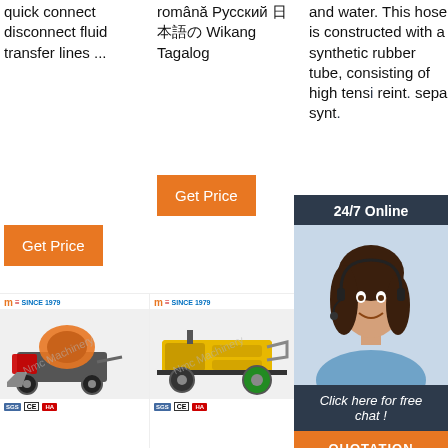quick connect disconnect fluid transfer lines ...
română Русский [unknown script] Wikang Tagalog
and water. This hose is constructed with a synthetic rubber tube, consisting of high tens... reint... sepa... synt...
Get Price
Get Price
24/7 Online
[Figure (photo): Customer service representative with headset smiling]
Click here for free chat !
QUOTATION
[Figure (photo): Industrial concrete mixer or mortar machine on wheels]
[Figure (photo): Yellow industrial concrete pump machine on wheels]
[Figure (photo): Mini excavator with TOP branding overlay graphic]